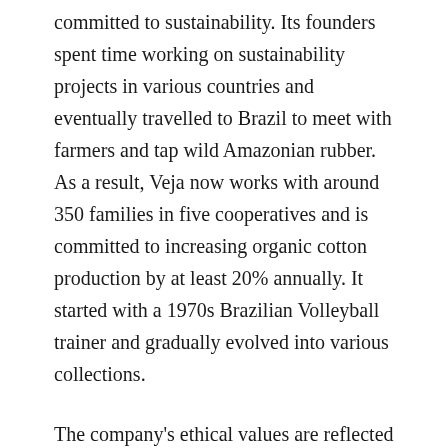committed to sustainability. Its founders spent time working on sustainability projects in various countries and eventually travelled to Brazil to meet with farmers and tap wild Amazonian rubber. As a result, Veja now works with around 350 families in five cooperatives and is committed to increasing organic cotton production by at least 20% annually. It started with a 1970s Brazilian Volleyball trainer and gradually evolved into various collections.
The company's ethical values are reflected in its shipping practices. It ships most of its products by sea but occasionally uses air transportation to meet production deadlines. Currently, the company ships its products by boat but is actively working to reduce its